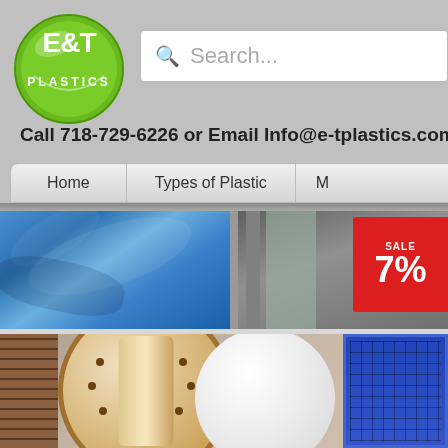[Figure (screenshot): E&T Plastics website header with logo, search bar, contact info and navigation]
Call 718-729-6226 or Email Info@e-tplastics.com to
Home | Types of Plastic | M
[Figure (photo): Blue plastic sheeting material]
[Figure (photo): Store display with red sale sign showing 7%]
[Figure (photo): Large wooden spool with white plastic roll, and blue grid panel on right]